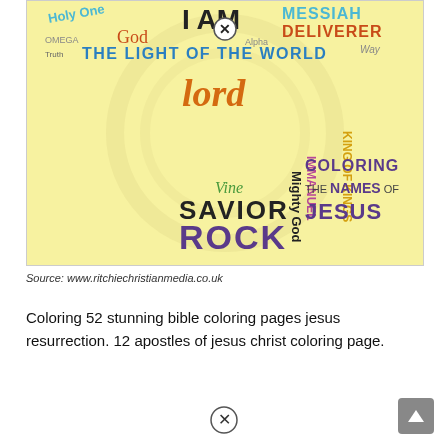[Figure (illustration): A colorful word-art illustration showing names of Jesus (Holy One, I AM, Messiah, Deliverer, Omega, God, Alpha, Truth, The Light of the World, Way, Lord, Son of God, King of Kings, Immanuel, Mighty God, Vine, Savior, Rock) arranged in a cross/typographic design on a yellow background. Right side reads 'Coloring the Names of Jesus'.]
Source: www.ritchiechristianmedia.co.uk
Coloring 52 stunning bible coloring pages jesus resurrection. 12 apostles of jesus christ coloring page.